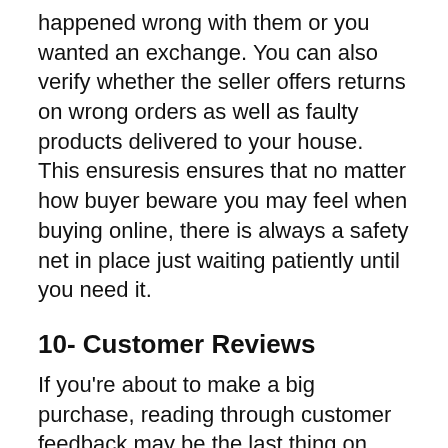happened wrong with them or you wanted an exchange. You can also verify whether the seller offers returns on wrong orders as well as faulty products delivered to your house. This ensuresis ensures that no matter how buyer beware you may feel when buying online, there is always a safety net in place just waiting patiently until you need it.
10- Customer Reviews
If you're about to make a big purchase, reading through customer feedback may be the last thing on your mind. This is an absolutely necessary step for us to know not only what we are getting into before